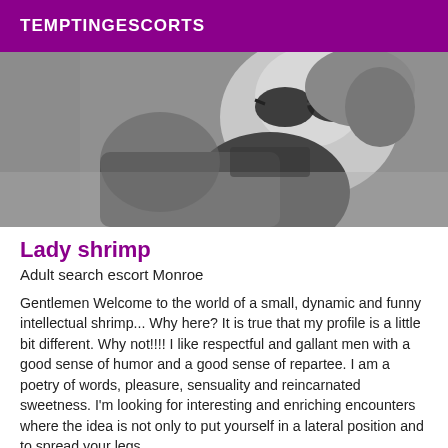TEMPTINGESCORTS
[Figure (photo): Black and white photo of a woman with sunglasses sitting outdoors]
Lady shrimp
Adult search escort Monroe
Gentlemen Welcome to the world of a small, dynamic and funny intellectual shrimp... Why here? It is true that my profile is a little bit different. Why not!!!! I like respectful and gallant men with a good sense of humor and a good sense of repartee. I am a poetry of words, pleasure, sensuality and reincarnated sweetness. I'm looking for interesting and enriching encounters where the idea is not only to put yourself in a lateral position and to spread your legs.